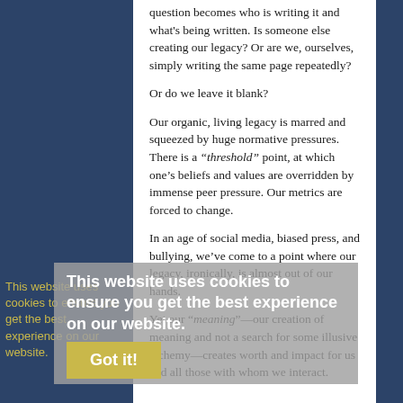question becomes who is writing it and what's being written. Is someone else creating our legacy? Or are we, ourselves, simply writing the same page repeatedly?
Or do we leave it blank?
Our organic, living legacy is marred and squeezed by huge normative pressures. There is a “threshold” point, at which one’s beliefs and values are overridden by immense peer pressure. Our metrics are forced to change.
In an age of social media, biased press, and bullying, we’ve come to a point where our legacy, ironically, is almost out of our hands.
Yet our “meaning”—our creation of meaning and not a search for some illusive alchemy—creates worth and impact for us and all those with whom we interact.